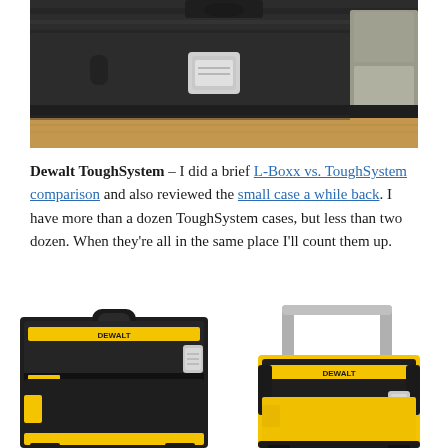[Figure (photo): Close-up photo of a Dewalt ToughSystem tool case latch and handle area, dark grey plastic, seen from the side on a wooden surface with other cases visible in the background.]
Dewalt ToughSystem – I did a brief L-Boxx vs. ToughSystem comparison and also reviewed the small case a while back. I have more than a dozen ToughSystem cases, but less than two dozen. When they're all in the same place I'll count them up.
[Figure (photo): Two Dewalt ToughSystem tool cases side by side. Left case is a standard carry box with black body and yellow accents; right case is a larger rolling case with an extended aluminum pull handle and yellow body with black accents.]